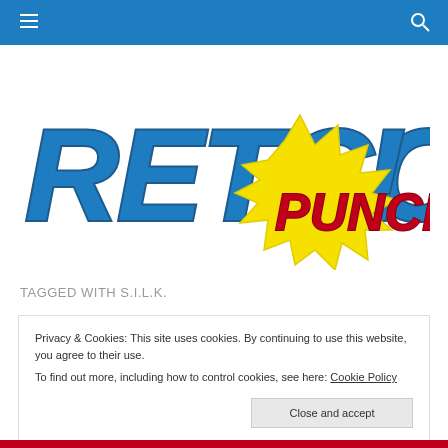Navigation bar with hamburger menu and search icon
[Figure (logo): Retcon Punch logo — 'RETCON' in large blue comic-book lettering, 'PUNCH!' in red text on a yellow starburst shape]
TAGGED WITH S.I.L.K.
Privacy & Cookies: This site uses cookies. By continuing to use this website, you agree to their use.
To find out more, including how to control cookies, see here: Cookie Policy
Close and accept